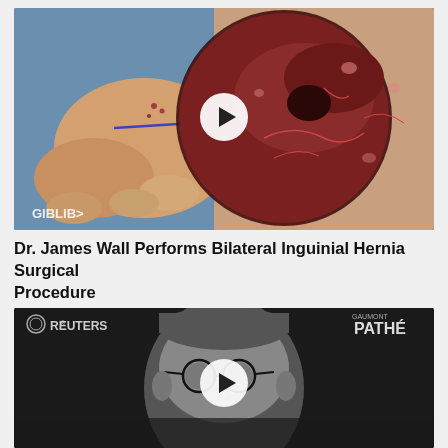[Figure (photo): Video thumbnail showing a surgical procedure - bilateral inguinal hernia operation. Left side shows external view with surgeon's hands on patient skin with sutures/trocars. Right side shows internal laparoscopic/endoscopic view with reddish tissue and blood vessels visible. A white circular play button overlay is centered on the image. Text 'GIBLIB>' watermark visible at bottom left.]
Dr. James Wall Performs Bilateral Inguinial Hernia Surgical Procedure
[Figure (photo): Video thumbnail in black and white showing a close-up of a person's face wearing round glasses. Reuters logo and brand mark visible at top left. 'PATHE' text visible at top right. A white circular play button overlay is at the bottom center of the image.]